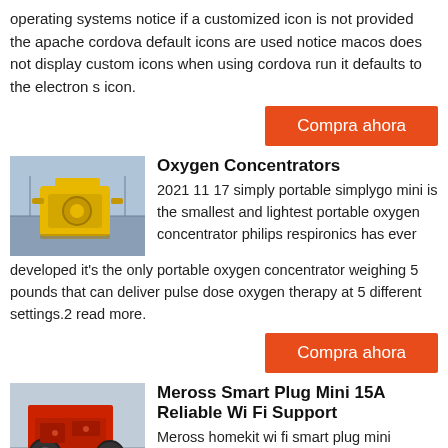operating systems notice if a customized icon is not provided the apache cordova default icons are used notice macos does not display custom icons when using cordova run it defaults to the electron s icon.
Compra ahora
[Figure (photo): Yellow industrial mining/crushing machine in a factory setting]
Oxygen Concentrators
2021 11 17 simply portable simplygo mini is the smallest and lightest portable oxygen concentrator philips respironics has ever developed it's the only portable oxygen concentrator weighing 5 pounds that can deliver pulse dose oxygen therapy at 5 different settings.2 read more.
Compra ahora
[Figure (photo): Red industrial crushing machine in a factory setting]
Meross Smart Plug Mini 15A Reliable Wi Fi Support
Meross homekit wi fi smart plug mini functions of smart plug remote control by meross app voice commands control after compatible with apple homekit ios 13.0 or